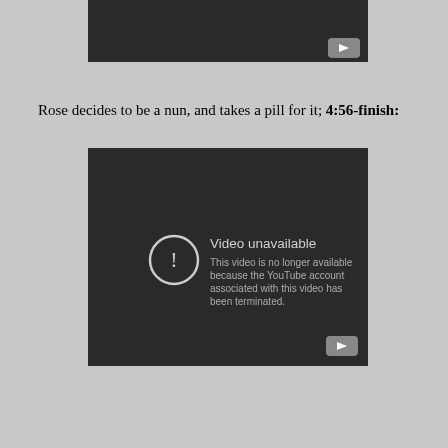[Figure (screenshot): Top portion of a dark video player (cropped), with a YouTube play button icon in the bottom-right corner.]
Rose decides to be a nun, and takes a pill for it; 4:56-finish:
[Figure (screenshot): YouTube video player showing 'Video unavailable' error message: 'This video is no longer available because the YouTube account associated with this video has been terminated.' with a warning icon and YouTube play button in bottom-right.]